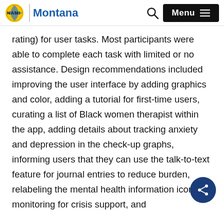NAMI Montana — website header with logo, search icon, and Menu button
rating) for user tasks. Most participants were able to complete each task with limited or no assistance. Design recommendations included improving the user interface by adding graphics and color, adding a tutorial for first-time users, curating a list of Black women therapist within the app, adding details about tracking anxiety and depression in the check-up graphs, informing users that they can use the talk-to-text feature for journal entries to reduce burden, relabeling the mental health information icon, monitoring for crisis support, and